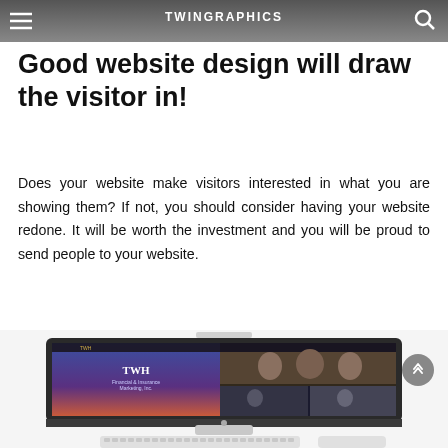TWINGRAPHICS
Good website design will draw the visitor in!
Does your website make visitors interested in what you are showing them? If not, you should consider having your website redone. It will be worth the investment and you will be proud to send people to your website.
[Figure (screenshot): Apple iMac computer displaying TWH Financial & Insurance Marketing website, shown from a perspective angle with keyboard visible at the bottom]